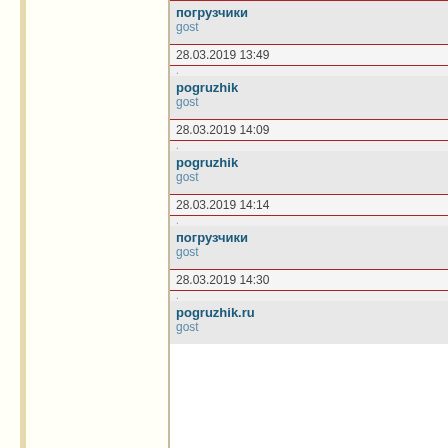погрузчики
gost
28.03.2019 13:49
pogruzhik
gost
28.03.2019 14:09
pogruzhik
gost
28.03.2019 14:14
погрузчики
gost
28.03.2019 14:30
pogruzhik.ru
gost